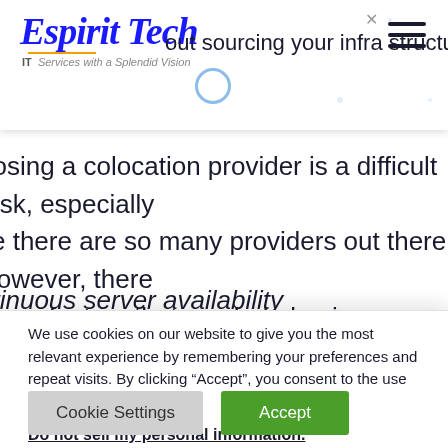Espirit Tech — IT Services with a Splendid Vision — out sourcing your infra structure
oosing a colocation provider is a difficult task, especially ce there are so many providers out there. However, there some factors that can help businesses make the right ision.
ntinuous server availability
We use cookies on our website to give you the most relevant experience by remembering your preferences and repeat visits. By clicking “Accept”, you consent to the use of ALL the cookies.
Do not sell my personal information.
Cookie Settings   Accept